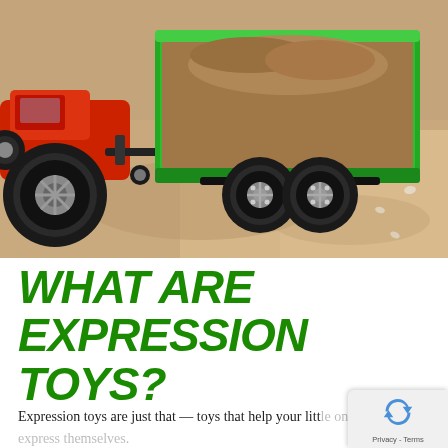[Figure (photo): Toy tractor with a green trailer loaded with sand/dirt, photographed outdoors in sand. A red toy tractor is partially visible on the left pulling a green box trailer on black rubber wheels.]
WHAT ARE EXPRESSION TOYS?
Expression toys are just that — toys that help your litt... express themselves.